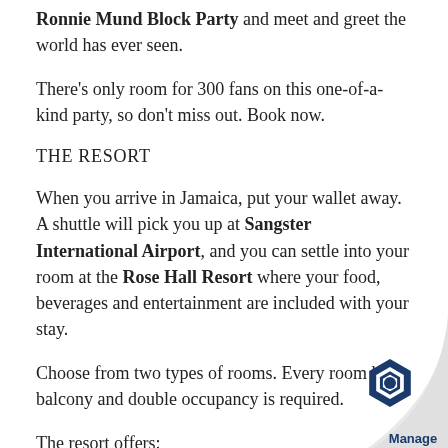Ronnie Mund Block Party and meet and greet the world has ever seen.
There's only room for 300 fans on this one-of-a-kind party, so don't miss out. Book now.
THE RESORT
When you arrive in Jamaica, put your wallet away. A shuttle will pick you up at Sangster International Airport, and you can settle into your room at the Rose Hall Resort where your food, beverages and entertainment are included with your stay.
Choose from two types of rooms. Every room has a balcony and double occupancy is required.
The resort offers: